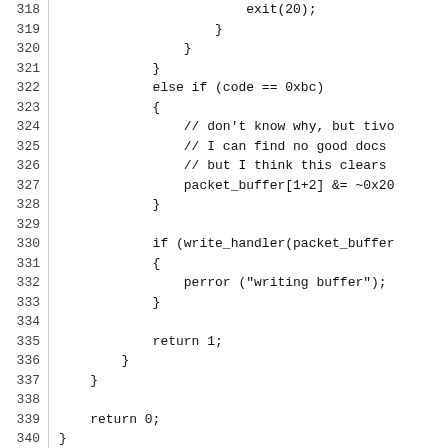Source code listing, lines 318–340, showing C/C++ code with line numbers. Code includes exit(20), else if (code == 0xbc) block with comments about tivo, packet_buffer manipulation, write_handler call, perror, return 1, and return 0.